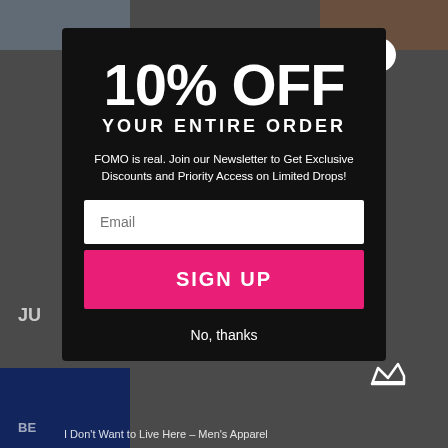[Figure (screenshot): Background showing a retail/apparel website partially obscured by a popup modal]
10% OFF YOUR ENTIRE ORDER
FOMO is real. Join our Newsletter to Get Exclusive Discounts and Priority Access on Limited Drops!
Email (input field placeholder)
SIGN UP
No, thanks